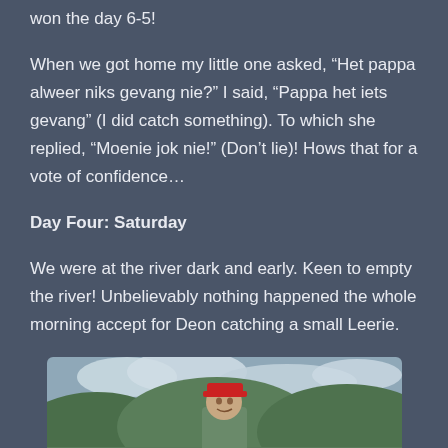won the day 6-5!
When we got home my little one asked, “Het pappa alweer niks gevang nie?” I said, “Pappa het iets gevang” (I did catch something). To which she replied, “Moenie jok nie!” (Don’t lie)! Hows that for a vote of confidence…
Day Four: Saturday
We were at the river dark and early. Keen to empty the river! Unbelievably nothing happened the whole morning accept for Deon catching a small Leerie.
[Figure (photo): Person wearing a red cap outdoors with green hills and cloudy sky in the background]